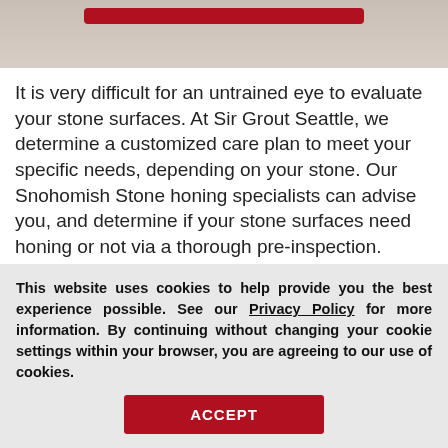[Figure (photo): Partial top image of stone surface with a red button overlay]
It is very difficult for an untrained eye to evaluate your stone surfaces. At Sir Grout Seattle, we determine a customized care plan to meet your specific needs, depending on your stone. Our Snohomish Stone honing specialists can advise you, and determine if your stone surfaces need honing or not via a thorough pre-inspection.
[Figure (photo): Partial bottom image of stone/wood surface with Request a Free popup overlay]
This website uses cookies to help provide you the best experience possible. See our Privacy Policy for more information. By continuing without changing your cookie settings within your browser, you are agreeing to our use of cookies.